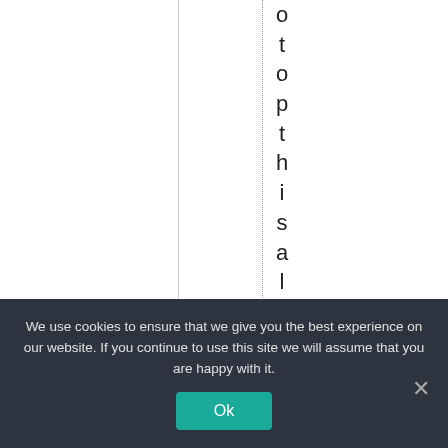o t o p t h i s a l l o f f , t h e
We use cookies to ensure that we give you the best experience on our website. If you continue to use this site we will assume that you are happy with it.